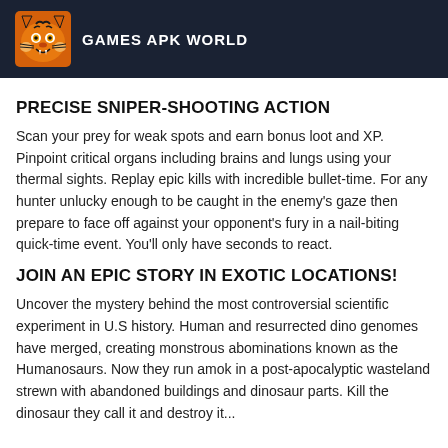GAMES APK WORLD
PRECISE SNIPER-SHOOTING ACTION
Scan your prey for weak spots and earn bonus loot and XP. Pinpoint critical organs including brains and lungs using your thermal sights. Replay epic kills with incredible bullet-time. For any hunter unlucky enough to be caught in the enemy's gaze then prepare to face off against your opponent's fury in a nail-biting quick-time event. You'll only have seconds to react.
JOIN AN EPIC STORY IN EXOTIC LOCATIONS!
Uncover the mystery behind the most controversial scientific experiment in U.S history. Human and resurrected dino genomes have merged, creating monstrous abominations known as the Humanosaurs. Now they run amok in a post-apocalyptic wasteland strewn with abandoned buildings and dinosaur parts. Kill the dinosaur they call it and destroy it...